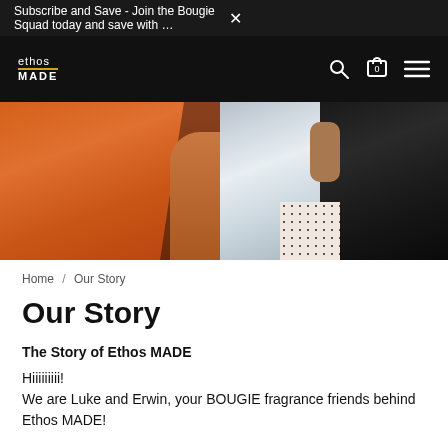Subscribe and Save - Join the Bougie Squad today and save with … ×
[Figure (logo): ethos MADE logo in white text on black background with gold underline under 'ethos']
[Figure (photo): Three people standing close together: person on left in orange outfit, person in middle in white shirt with light blue bottoms, person on right in black leather jacket. Lower torso/waist area shown.]
Home / Our Story
Our Story
The Story of Ethos MADE
Hiiiiiiiii!
We are Luke and Erwin, your BOUGIE fragrance friends behind Ethos MADE!